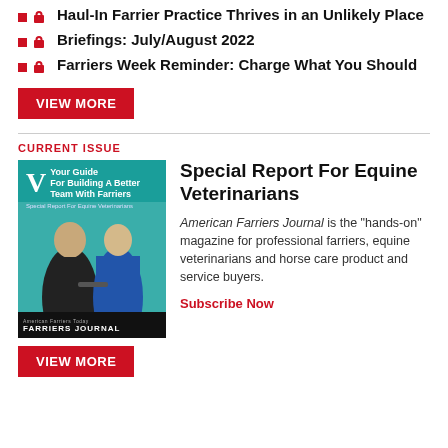Haul-In Farrier Practice Thrives in an Unlikely Place
Briefings: July/August 2022
Farriers Week Reminder: Charge What You Should
VIEW MORE
CURRENT ISSUE
[Figure (illustration): Magazine cover: Your Guide For Building A Better Team With Farriers — Special Report For Equine Veterinarians, American Farriers Journal]
Special Report For Equine Veterinarians
American Farriers Journal is the "hands-on" magazine for professional farriers, equine veterinarians and horse care product and service buyers.
Subscribe Now
VIEW MORE